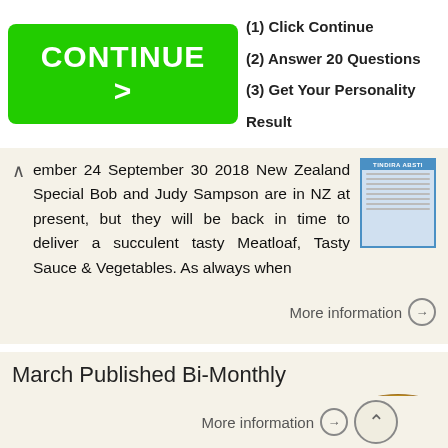[Figure (infographic): Advertisement banner with green CONTINUE > button and steps: (1) Click Continue, (2) Answer 20 Questions, (3) Get Your Personality Result]
ember 24 September 30 2018 New Zealand Special Bob and Judy Sampson are in NZ at present, but they will be back in time to deliver a succulent tasty Meatloaf, Tasty Sauce & Vegetables. As always when
More information →
March Published Bi-Monthly
March 2018 Published Bi-Monthly CINDY BROZ ALLEN, COMMODORE Welcome Aboard! Thanks to our volunteer Event Hosts, this year is full of fun boating and social activities for SeaGate Yacht Club. Be sure to
More information →